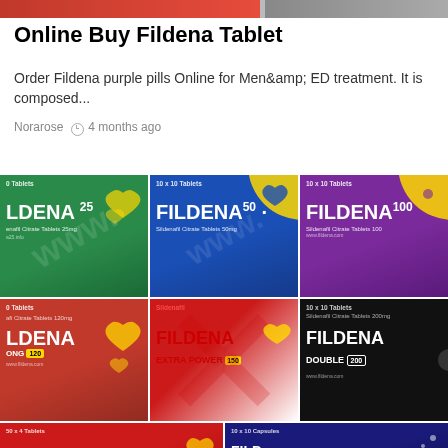[Figure (photo): Partial top banner image cropped at top of page]
Online Buy Fildena Tablet
Order Fildena purple pills Online for Men&amp; ED treatment. It is composed...
Norarose   4 months ago
[Figure (photo): Grid of Fildena tablet product packaging images: Fildena 25 (green), Fildena 50 (blue), Fildena 100 (purple), Fildena 120 Strong (red), Fildena Extra Power 150 (red/white), Fildena Double 200 (black), and two more partially visible at bottom.]